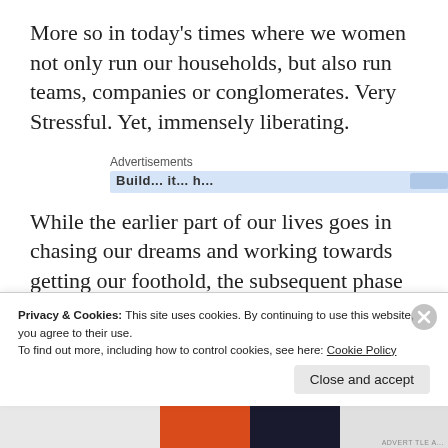More so in today's times where we women not only run our households, but also run teams, companies or conglomerates. Very Stressful. Yet, immensely liberating.
[Figure (other): Advertisements banner with partially visible text 'Build... it... h...' on a blue background bar]
While the earlier part of our lives goes in chasing our dreams and working towards getting our foothold, the subsequent phase
Privacy & Cookies: This site uses cookies. By continuing to use this website, you agree to their use.
To find out more, including how to control cookies, see here: Cookie Policy